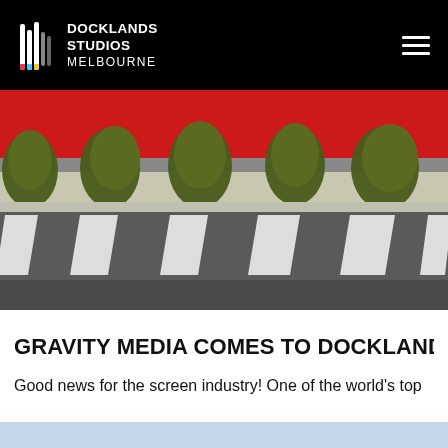[Figure (logo): Docklands Studios Melbourne logo — white icon of vertical bars and colored strips beside white bold text reading DOCKLANDS STUDIOS MELBOURNE on black background]
[Figure (photo): Exterior photo showing a pedestrian crossing / speed bumps on dark asphalt in front of a bright red wall with ornamental grass plantings]
GRAVITY MEDIA COMES TO DOCKLANDS ST
Good news for the screen industry! One of the world's top